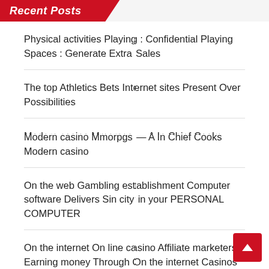Recent Posts
Physical activities Playing : Confidential Playing Spaces : Generate Extra Sales
The top Athletics Bets Internet sites Present Over Possibilities
Modern casino Mmorpgs — A In Chief Cooks Modern casino
On the web Gambling establishment Computer software Delivers Sin city in your PERSONAL COMPUTER
On the internet On line casino Affiliate marketers: Earning money Through On the internet Casinos Without having Placing Your hard earned money in danger